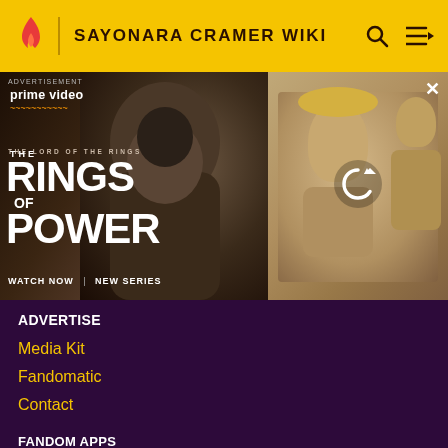SAYONARA CRAMER WIKI
[Figure (screenshot): Amazon Prime Video advertisement for The Lord of the Rings: The Rings of Power. Left panel shows a hooded dark figure in a gray tattered cloak with text: prime video, THE LORD OF THE RINGS, THE RINGS OF POWER, WATCH NOW | NEW SERIES. Right panel shows a blonde woman with other figures, with a refresh/reload icon overlay. An X close button is at top right. ADVERTISEMENT label at top left.]
ADVERTISE
Media Kit
Fandomatic
Contact
FANDOM APPS
Take your favorite fandoms with you and never miss a beat.
[Figure (screenshot): Two app store download buttons: a reddish-orange button on the left (appears to be Google Play) and a dark button on the right with 'Download on the' text (Apple App Store)]